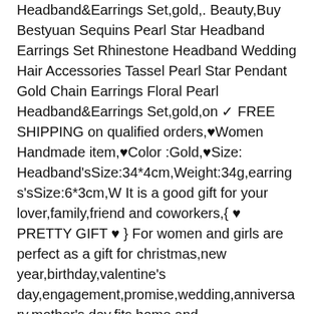Headband&Earrings Set,gold,. Beauty,Buy Bestyuan Sequins Pearl Star Headband Earrings Set Rhinestone Headband Wedding Hair Accessories Tassel Pearl Star Pendant Gold Chain Earrings Floral Pearl Headband&Earrings Set,gold,on ✓ FREE SHIPPING on qualified orders,♥Women Handmade item,♥Color :Gold,♥Size: Headband'sSize:34*4cm,Weight:34g,earrings'sSize:6*3cm,W It is a good gift for your lover,family,friend and coworkers,{ ♥ PRETTY GIFT ♥ } For women and girls are perfect as a gift for christmas,new year,birthday,valentine's day,engagement,promise,wedding,anniversary,mother's day,fits home and party,etc,✿NOTICE✿ Please allow slight size difference due to manual measurement,because the photo display reasons,picture